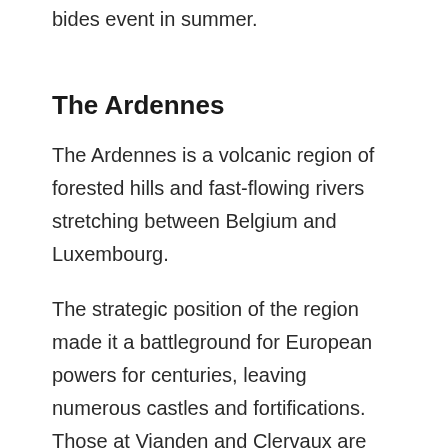bides event in summer.
The Ardennes
The Ardennes is a volcanic region of forested hills and fast-flowing rivers stretching between Belgium and Luxembourg.
The strategic position of the region made it a battleground for European powers for centuries, leaving numerous castles and fortifications. Those at Vianden and Clervaux are particularly impressive. Pretty hillside medieval villages provide perfect bases to explore the surrounding countryside.
Walking, cycling, mountain biking and canoeing